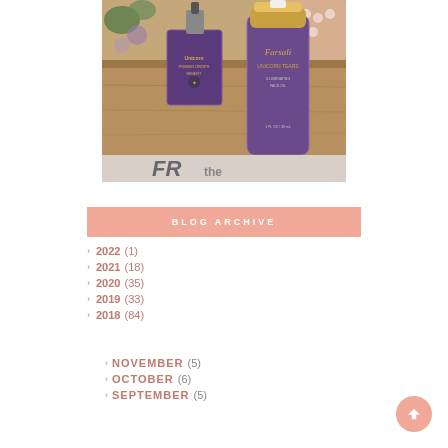[Figure (photo): Two purple beauty serum/primer dropper bottles in a wooden tray with pearls and flowers in the background. Left bottle is small and square labeled 'Unicorn Primer Drops' by Benefit. Right bottle is tall and cylindrical labeled 'Farsali Unicorn Tears'.]
BLOG ARCHIVE
2022 (1)
2021 (18)
2020 (35)
2019 (33)
2018 (84)
NOVEMBER (5)
OCTOBER (6)
SEPTEMBER (5)